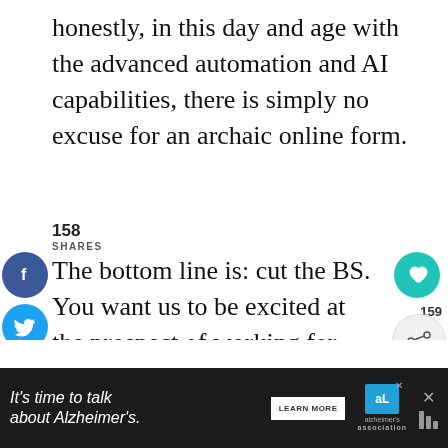honestly, in this day and age with the advanced automation and AI capabilities, there is simply no excuse for an archaic online form.
158
SHARES
[Figure (infographic): Social media share buttons: Facebook (blue circle with f), Twitter (light blue circle with bird icon), Pinterest (red circle with P). Heart/like icon on right. Share count 159 and share icon on right side.]
The bottom line is: cut the BS. You want us to be excited at the prospect of working for you, so don't ruin it with a tedious hour-long application.
[Figure (infographic): What's Next section with thumbnail image and text reading 'Portland, Maine...']
[Figure (infographic): Advertisement banner: It's time to talk about Alzheimer's. LEARN MORE button. Alzheimer's Association logo. Close button.]